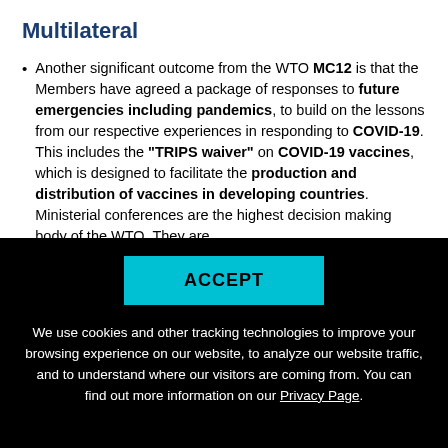Multilateral
Another significant outcome from the WTO MC12 is that the Members have agreed a package of responses to future emergencies including pandemics, to build on the lessons from our respective experiences in responding to COVID-19. This includes the "TRIPS waiver" on COVID-19 vaccines, which is designed to facilitate the production and distribution of vaccines in developing countries. Ministerial conferences are the highest decision making body of the WTO. They are
ACCEPT
We use cookies and other tracking technologies to improve your browsing experience on our website, to analyze our website traffic, and to understand where our visitors are coming from. You can find out more information on our Privacy Page.